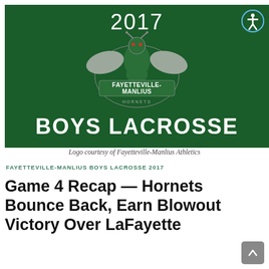[Figure (logo): Fayetteville-Manlius Hornets Boys Lacrosse 2017 banner with hornet mascot logo on dark green background, with '2017' at top and 'BOYS LACROSSE' at bottom]
Logo courtesy of Fayetteville-Manlius Athletics
FAYETTEVILLE-MANLIUS BOYS LACROSSE 2017
Game 4 Recap — Hornets Bounce Back, Earn Blowout Victory Over LaFayette